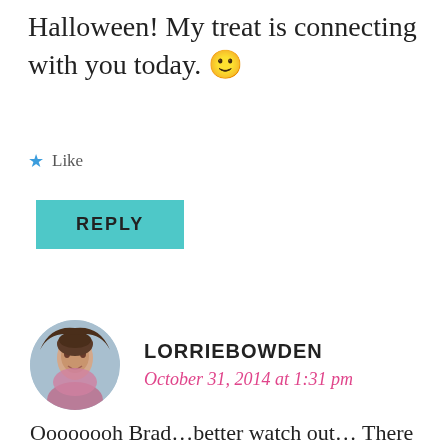Halloween! My treat is connecting with you today. 🙂
★ Like
REPLY
LORRIEBOWDEN
October 31, 2014 at 1:31 pm
Oooooooh Brad…better watch out… There just might be a trick!!! Only kidding…love the comment and so